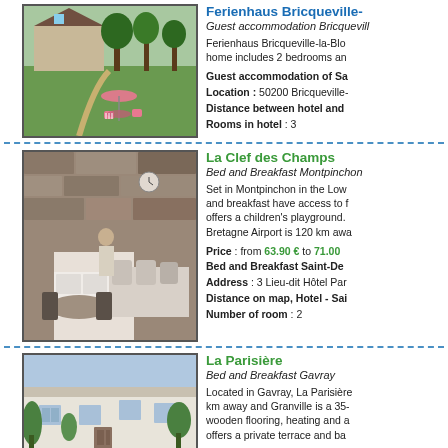Ferienhaus Bricqueville-
Guest accommodation Bricquevill
Ferienhaus Bricqueville-la-Blo home includes 2 bedrooms an
Guest accommodation of Sa Location : 50200 Bricqueville- Distance between hotel and Rooms in hotel : 3
[Figure (photo): Outdoor garden of Ferienhaus Bricqueville with pink chairs and umbrella]
La Clef des Champs
Bed and Breakfast Montpinchon
Set in Montpinchon in the Low and breakfast have access to f offers a children's playground. Bretagne Airport is 120 km awa
Price : from 63.90 € to 71.00 Bed and Breakfast Saint-De Address : 3 Lieu-dit Hôtel Par Distance on map, Hotel - Sai Number of room : 2
[Figure (photo): Interior of La Clef des Champs bed and breakfast with stone wall]
La Parisière
Bed and Breakfast Gavray
Located in Gavray, La Parisière km away and Granville is a 35 wooden flooring, heating and a offers a private terrace and ba
[Figure (photo): Exterior of La Parisière bed and breakfast in Gavray]